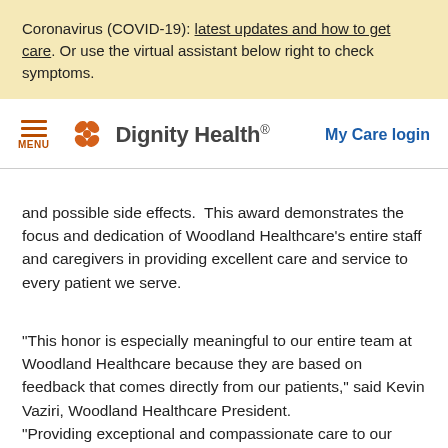Coronavirus (COVID-19): latest updates and how to get care. Or use the virtual assistant below right to check symptoms.
[Figure (logo): Dignity Health logo with stylized orange flower/butterfly icon and the text 'Dignity Health.' Navigation bar also shows hamburger menu icon with 'MENU' label and 'My Care login' link in blue.]
and possible side effects.  This award demonstrates the focus and dedication of Woodland Healthcare's entire staff and caregivers in providing excellent care and service to every patient we serve.
“This honor is especially meaningful to our entire team at Woodland Healthcare because they are based on feedback that comes directly from our patients,” said Kevin Vaziri, Woodland Healthcare President. “Providing exceptional and compassionate care to our patients has always been our number one priority and